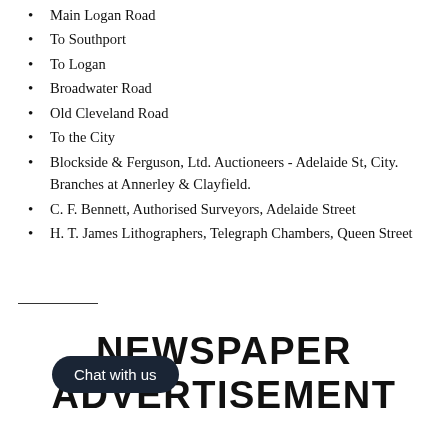Main Logan Road
To Southport
To Logan
Broadwater Road
Old Cleveland Road
To the City
Blockside & Ferguson, Ltd. Auctioneers - Adelaide St, City. Branches at Annerley & Clayfield.
C. F. Bennett, Authorised Surveyors, Adelaide Street
H. T. James Lithographers, Telegraph Chambers, Queen Street
NEWSPAPER ADVERTISEMENT